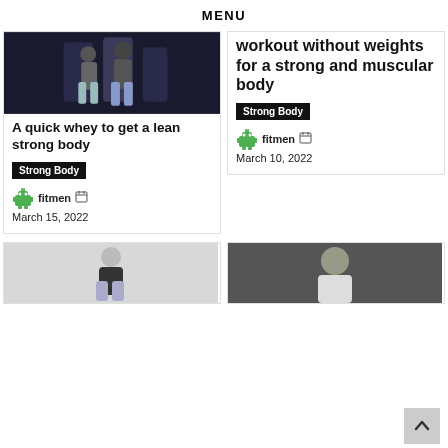MENU
[Figure (photo): Two athletic people posing in dark studio]
A quick whey to get a lean strong body
Strong Body
fitmen  March 15, 2022
workout without weights for a strong and muscular body
Strong Body
fitmen  March 10, 2022
[Figure (photo): Woman in sports bra posing]
[Figure (photo): Man in white top portrait]